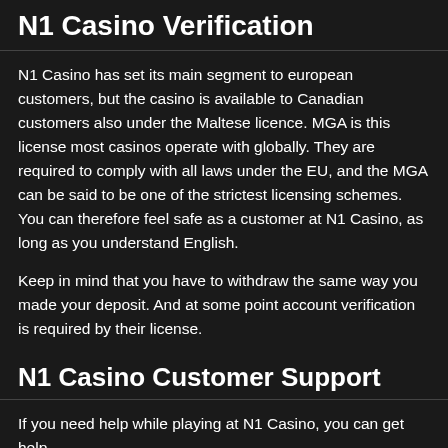N1 Casino Verification
N1 Casino has set its main segment to european customers, but the casino is available to Canadian customers also under the Maltese licence. MGA is this license most casinos operate with globally. They are required to comply with all laws under the EU, and the MGA can be said to be one of the strictest licensing schemes. You can therefore feel safe as a customer at N1 Casino, as long as you understand English.
Keep in mind that you have to withdraw the same way you made your deposit. And at some point account verification is required by their license.
N1 Casino Customer Support
If you need help while playing at N1 Casino, you can get help